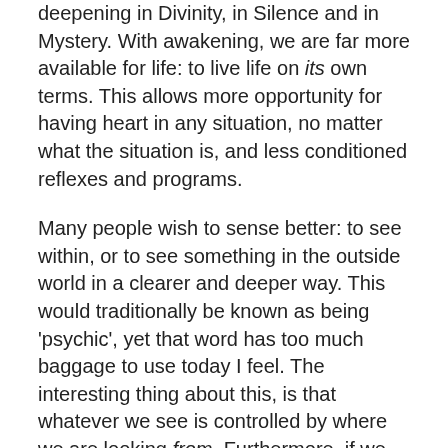deepening in Divinity, in Silence and in Mystery. With awakening, we are far more available for life: to live life on its own terms. This allows more opportunity for having heart in any situation, no matter what the situation is, and less conditioned reflexes and programs.
Many people wish to sense better: to see within, or to see something in the outside world in a clearer and deeper way. This would traditionally be known as being 'psychic', yet that word has too much baggage to use today I feel. The interesting thing about this, is that whatever we see is controlled by where we are looking from. Furthermore, if we can find a 'place' we are looking from, then that can't be Truth – it has to be some place of separation.
In a similar way, whatever we encounter in the outside world is dependant upon where we are coming from. For